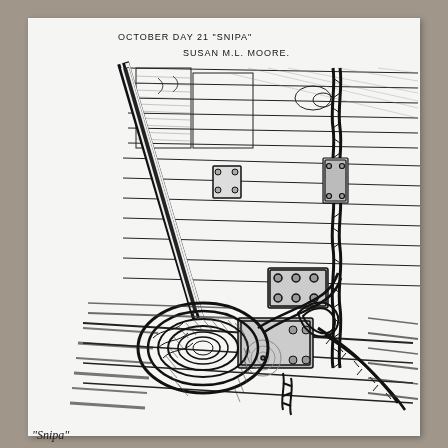[Figure (illustration): Pen and ink drawing of a ship's wooden hull detail showing ropes tied around a cleat/bollard, with wooden planking visible. Title text at top reads 'OCTOBER DAY 21 "SNIPA"' and artist signature 'SUSAN M.L. MOORE' below.]
"Snipa"